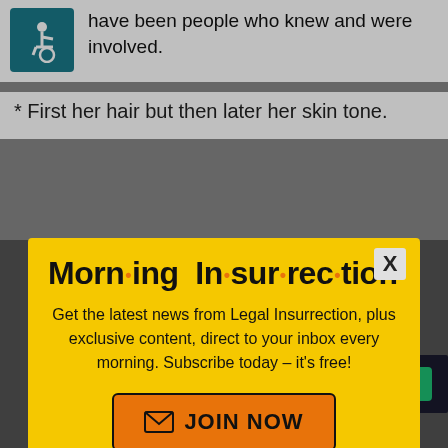[Figure (illustration): Wheelchair accessibility icon in teal/dark cyan square]
have been people who knew and were involved.
* First her hair but then later her skin tone.
amongst white people, there is no advantage. We are talking of "keeping op a jobs. If White people constitute El
[Figure (screenshot): Fiverr advertisement bar with logo and Start Now button, with X close button]
[Figure (screenshot): Morning Insurrection newsletter modal popup with yellow background, title 'Morn·ing In·sur·rec·tion', subscription text, and JOIN NOW button with envelope icon, plus X close button]